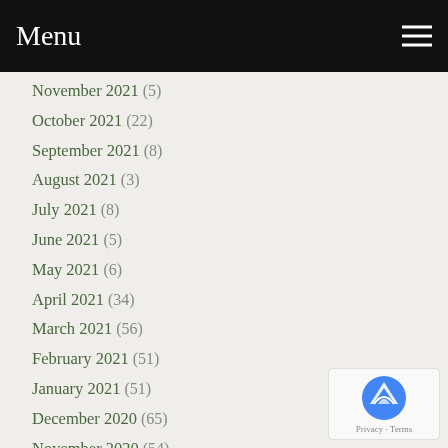Menu
November 2021 (5)
October 2021 (22)
September 2021 (8)
August 2021 (3)
July 2021 (8)
June 2021 (5)
May 2021 (6)
April 2021 (34)
March 2021 (56)
February 2021 (51)
January 2021 (51)
December 2020 (65)
November 2020 (54)
October 2020 (31)
September 2020 (26)
August 2020 (21)
July 2020 (26)
June 2020 (12)